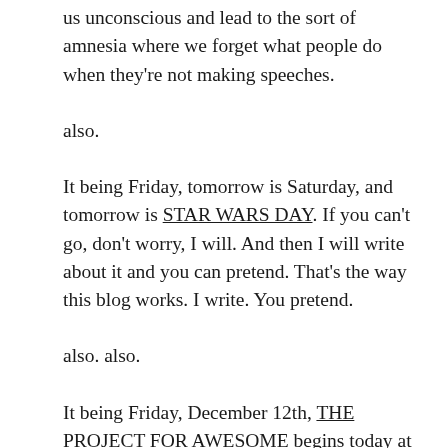us unconscious and lead to the sort of amnesia where we forget what people do when they're not making speeches.
also.
It being Friday, tomorrow is Saturday, and tomorrow is STAR WARS DAY. If you can't go, don't worry, I will. And then I will write about it and you can pretend. That's the way this blog works. I write. You pretend.
also. also.
It being Friday, December 12th, THE PROJECT FOR AWESOME begins today at noon. Noon being the eastern one. In London, it will begin